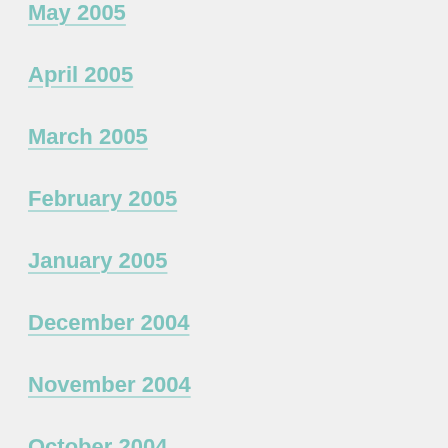May 2005
April 2005
March 2005
February 2005
January 2005
December 2004
November 2004
October 2004
September 2004
July 2004